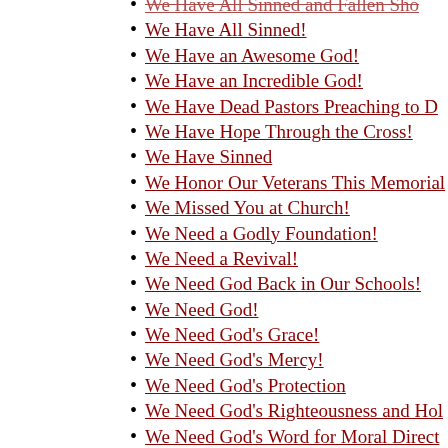We Have All Sinned and Fallen Sh (truncated)
We Have All Sinned!
We Have an Awesome God!
We Have an Incredible God!
We Have Dead Pastors Preaching to D (truncated)
We Have Hope Through the Cross!
We Have Sinned
We Honor Our Veterans This Memorial
We Missed You at Church!
We Need a Godly Foundation!
We Need a Revival!
We Need God Back in Our Schools!
We Need God!
We Need God's Grace!
We Need God's Mercy!
We Need God's Protection
We Need God's Righteousness and Hol (truncated)
We Need God's Word for Moral Direct (truncated)
We Need Godliness With Contentment!
We Need Godly Morals!
We Need Jesus More and More!
We Need Jesus Now!
We Need Jesus NOW! More Than Ever!
We Need Jesus TODAY!
We Need Jesus!
We Need Jesus!
We Need More of Jesus!
We Need Pastors to Preach on Holine (truncated)
We Need Prayer in America Today!
We Need REvival!
We Need the Gentleness of God!